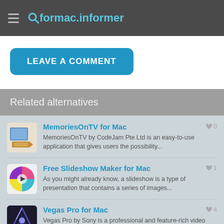formac.informer
LEAVE A COMMENT
Related alternatives
MemoriesOnTV for Mac
MemoriesOnTV by CodeJam Pte Ltd is an easy-to-use application that gives users the possibility...
Free Slideshow Maker for Mac
As you might already know, a slideshow is a type of presentation that contains a series of images...
Vegas Pro for Mac
Vegas Pro by Sony is a professional and feature-rich video editor, but when you...